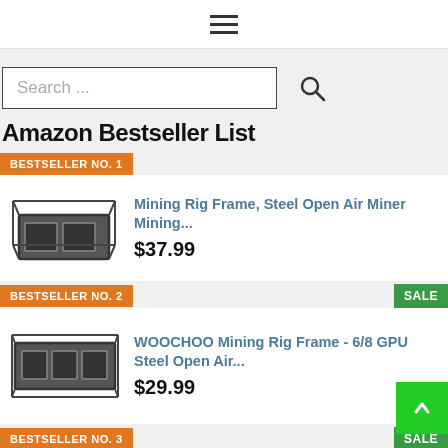≡ (hamburger menu)
Search ...
Amazon Bestseller List
BESTSELLER NO. 1 — Mining Rig Frame, Steel Open Air Miner Mining... $37.99
BESTSELLER NO. 2 — WOOCHOO Mining Rig Frame - 6/8 GPU Steel Open Air... $29.99 SALE
BESTSELLER NO. 3 — Mining Rig Frame... SALE